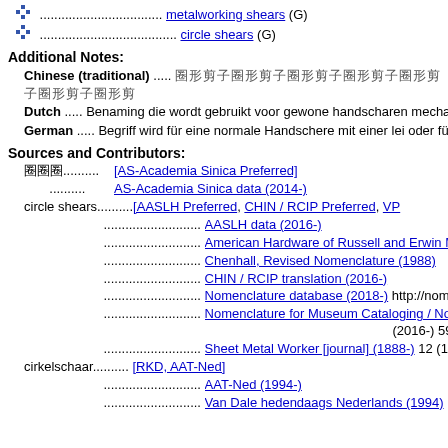metalworking shears (G)
circle shears (G)
Additional Notes:
Chinese (traditional) ..... [Chinese characters]
Dutch ..... Benaming die wordt gebruikt voor gewone handscharen mechanische scharen, die beide worden gebruikt om cirkels uit bla
German ..... Begriff wird für eine normale Handschere mit einer lei oder für eine mechanische Schere; beide werden zum Schneiden e
Sources and Contributors:
[AS-Academia Sinica Preferred]
AS-Academia Sinica data (2014-)
circle shears ........... [AASLH Preferred, CHIN / RCIP Preferred, VP
AASLH data (2016-)
American Hardware of Russell and Erwin Man
Chenhall, Revised Nomenclature (1988)
CHIN / RCIP translation (2016-)
Nomenclature database (2018-) http://nomenc Nomenclature-Objects
Nomenclature for Museum Cataloging / Nome (2016-) 5924
Sheet Metal Worker [journal] (1888-) 12 (1921
cirkelschaar ........... [RKD, AAT-Ned]
AAT-Ned (1994-)
Van Dale hedendaags Nederlands (1994)